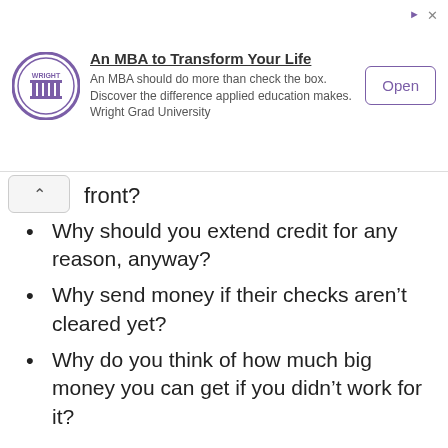[Figure (other): Advertisement banner for Wright Grad University MBA program with university logo, title 'An MBA to Transform Your Life', body text, and an Open button]
front?
Why should you extend credit for any reason, anyway?
Why send money if their checks aren't cleared yet?
Why do you think of how much big money you can get if you didn't work for it?
When you receive a 419 solicitation, just ignore it or delete it. In case of romance scam, don't give too much information to any stranger online. It will only give them an idea about your work, income, or family